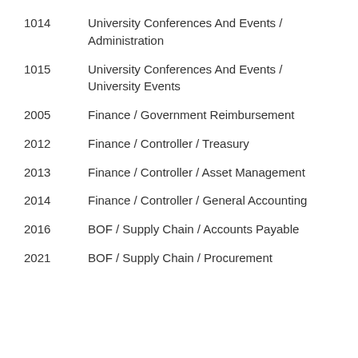1014   University Conferences And Events / Administration
1015   University Conferences And Events / University Events
2005   Finance / Government Reimbursement
2012   Finance / Controller / Treasury
2013   Finance / Controller / Asset Management
2014   Finance / Controller / General Accounting
2016   BOF / Supply Chain / Accounts Payable
2021   BOF / Supply Chain / Procurement